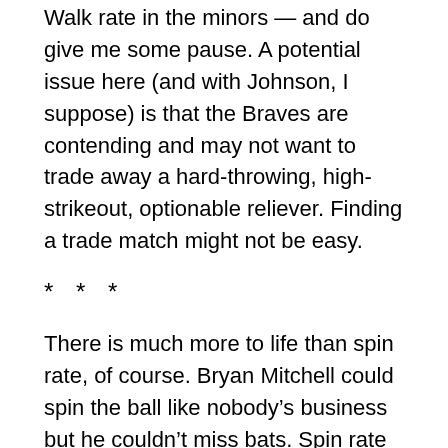Walk rate in the minors — and do give me some pause. A potential issue here (and with Johnson, I suppose) is that the Braves are contending and may not want to trade away a hard-throwing, high-strikeout, optionable reliever. Finding a trade match might not be easy.
* * *
There is much more to life than spin rate, of course. Bryan Mitchell could spin the ball like nobody's business but he couldn't miss bats. Spin rate is just one tool in the shed, as is swing-and-miss rate and velocity and all sorts of other things. Find the right mix and it can work well. And sometimes you think you have the right mix and it doesn't work for whatever reason. That's baseball. Live and learn. The Yankees seem to